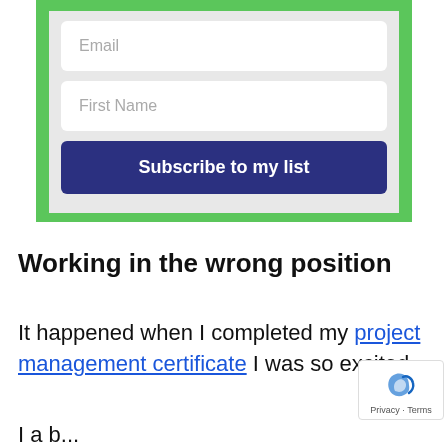[Figure (screenshot): A subscription form with a green border/background, containing an Email input field, a First Name input field, and a dark navy blue 'Subscribe to my list' button, all on a light gray background.]
Working in the wrong position
It happened when I completed my project management certificate I was so excited
I a b...